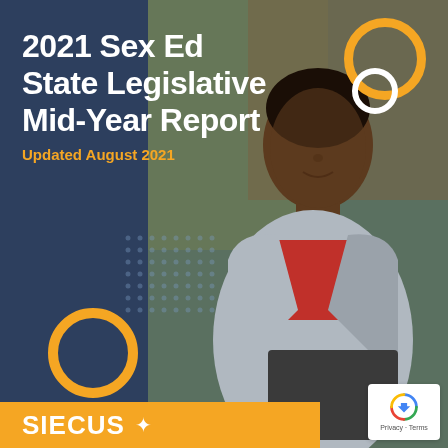2021 Sex Ed State Legislative Mid-Year Report
Updated August 2021
[Figure (photo): Cover page photo of a young Black woman wearing a grey jacket and red top, holding a laptop, photographed outdoors against a rocky/wooded background]
SIECUS +